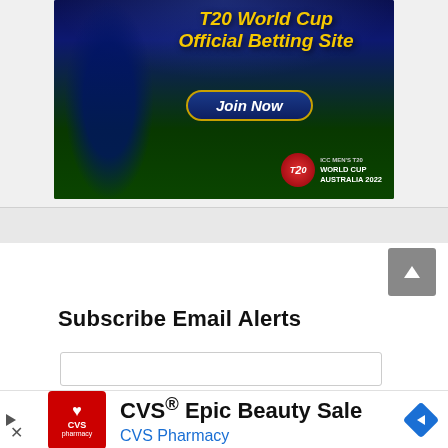[Figure (illustration): T20 World Cup Official Betting Site advertisement banner. Shows a cricket player with 'T20 World Cup Official Betting Site' in yellow italic text, a 'Join Now' button, and ICC Men's T20 World Cup Australia 2022 logo. Dark blue and green background with stadium imagery.]
Subscribe Email Alerts
[Figure (screenshot): CVS Epic Beauty Sale advertisement bar with CVS Pharmacy red logo, text 'CVS® Epic Beauty Sale' and 'CVS Pharmacy' in blue, and a blue navigation diamond arrow icon on the right.]